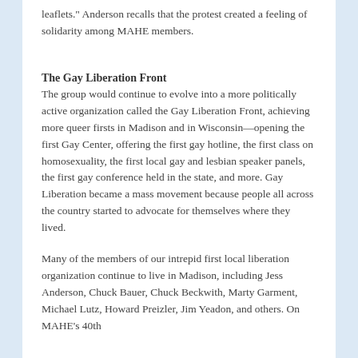leaflets." Anderson recalls that the protest created a feeling of solidarity among MAHE members.
The Gay Liberation Front
The group would continue to evolve into a more politically active organization called the Gay Liberation Front, achieving more queer firsts in Madison and in Wisconsin—opening the first Gay Center, offering the first gay hotline, the first class on homosexuality, the first local gay and lesbian speaker panels, the first gay conference held in the state, and more. Gay Liberation became a mass movement because people all across the country started to advocate for themselves where they lived.
Many of the members of our intrepid first local liberation organization continue to live in Madison, including Jess Anderson, Chuck Bauer, Chuck Beckwith, Marty Garment, Michael Lutz, Howard Preizler, Jim Yeadon, and others. On MAHE's 40th